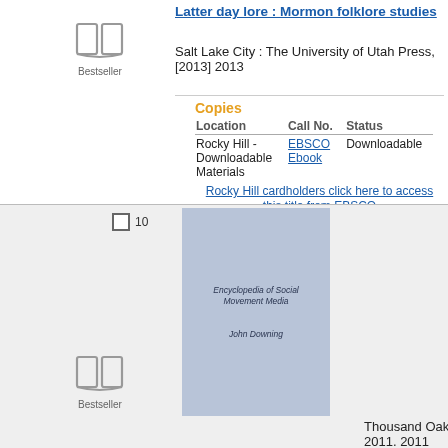Latter day lore : Mormon folklore studies
Salt Lake City : The University of Utah Press, [2013] 2013
[Figure (illustration): Book icon with 'Bestseller' label below]
Copies
| Location | Call No. | Status |
| --- | --- | --- |
| Rocky Hill - Downloadable Materials | EBSCO Ebook | Downloadable |
Rocky Hill cardholders click here to access this title from EBSCO
10
[Figure (illustration): Book cover image for Encyclopedia of Social Movement Media by John Downing]
[Figure (illustration): Book icon with 'Bestseller' label below]
Encyclopedia of social movement media
Thousand Oaks, Calif. : SAGE Publications, 2011. 2011
Copies
| Location | Call No. | Status |
| --- | --- | --- |
| Rocky Hill - Downloadable Materials | EBSCO Ebook | Downloadable |